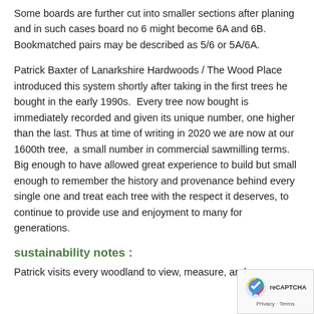Some boards are further cut into smaller sections after planing and in such cases board no 6 might become 6A and 6B.  Bookmatched pairs may be described as 5/6 or 5A/6A.
Patrick Baxter of Lanarkshire Hardwoods / The Wood Place introduced this system shortly after taking in the first trees he bought in the early 1990s.  Every tree now bought is immediately recorded and given its unique number, one higher than the last. Thus at time of writing in 2020 we are now at our 1600th tree,  a small number in commercial sawmilling terms.  Big enough to have allowed great experience to build but small enough to remember the history and provenance behind every single one and treat each tree with the respect it deserves, to continue to provide use and enjoyment to many for generations.
sustainability notes :
Patrick visits every woodland to view, measure, and